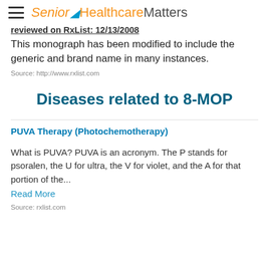Senior HealthcareMatters
reviewed on RxList: 12/13/2008
This monograph has been modified to include the generic and brand name in many instances.
Source: http://www.rxlist.com
Diseases related to 8-MOP
PUVA Therapy (Photochemotherapy)
What is PUVA? PUVA is an acronym. The P stands for psoralen, the U for ultra, the V for violet, and the A for that portion of the...
Read More
Source: rxlist.com